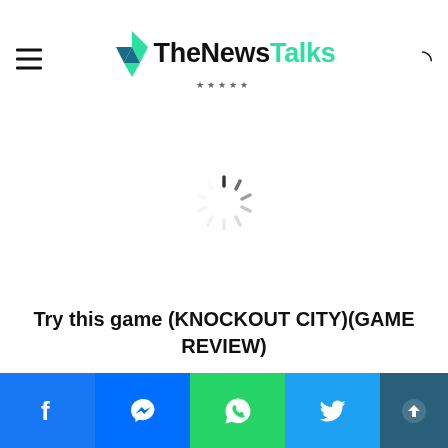TheNewsTalks
[Figure (other): Loading spinner / buffering wheel animation in gray on white background]
Try this game (KNOCKOUT CITY)(GAME REVIEW)
Social share bar: Facebook, Messenger, WhatsApp, Twitter, Share